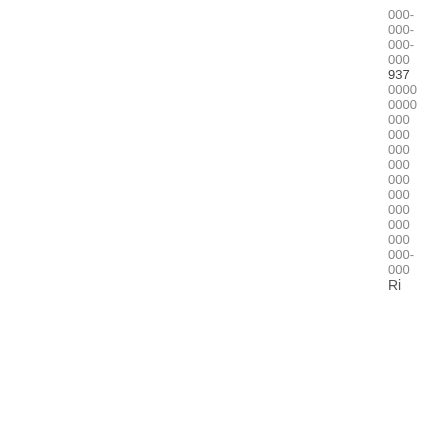000-
000-
000-
000
937
0000
0000
000
000
000
000
000
000
000
000
000
000-
000
Ri